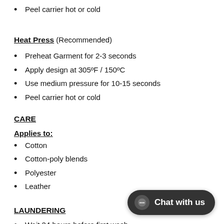Peel carrier hot or cold
Heat Press  (Recommended)
Preheat Garment for 2-3 seconds
Apply design at 305ºF / 150ºC
Use medium pressure for 10-15 seconds
Peel carrier hot or cold
CARE
Applies to:
Cotton
Cotton-poly blends
Polyester
Leather
LAUNDERING
Wait 24 hours before first wash
Machine wash warm water or cold